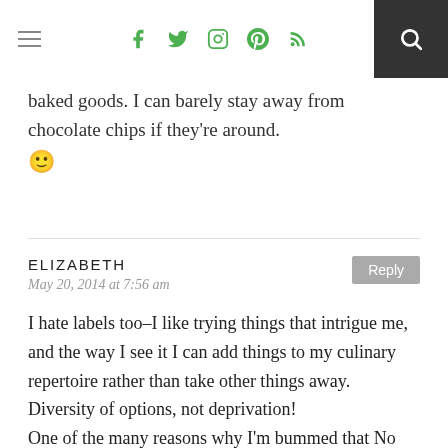Social media navigation bar with hamburger menu, social icons (Facebook, Twitter, Instagram, Pinterest, RSS), and search button
baked goods. I can barely stay away from chocolate chips if they're around. 🙂
ELIZABETH
May 20, 2014 at 7:56 am

I hate labels too–I like trying things that intrigue me, and the way I see it I can add things to my culinary repertoire rather than take other things away. Diversity of options, not deprivation!
One of the many reasons why I'm bummed that No Reservations (among other Scripps shows) is no longer streaming for free on